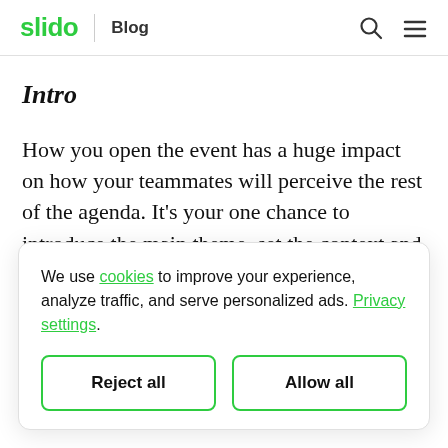slido | Blog
Intro
How you open the event has a huge impact on how your teammates will perceive the rest of the agenda. It’s your one chance to introduce the main theme, set the context and get people excited.
We use cookies to improve your experience, analyze traffic, and serve personalized ads. Privacy settings.
Reject all
Allow all